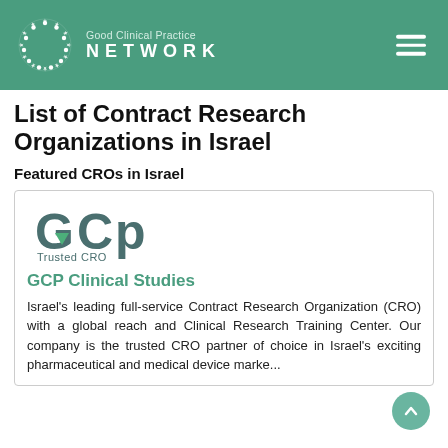Good Clinical Practice NETWORK
List of Contract Research Organizations in Israel
Featured CROs in Israel
[Figure (logo): GCP Trusted CRO logo — stylized GCP letters in dark teal with a green downward arrow/triangle accent, and 'Trusted CRO' text below]
GCP Clinical Studies
Israel's leading full-service Contract Research Organization (CRO) with a global reach and Clinical Research Training Center. Our company is the trusted CRO partner of choice in Israel's exciting pharmaceutical and medical device marke...